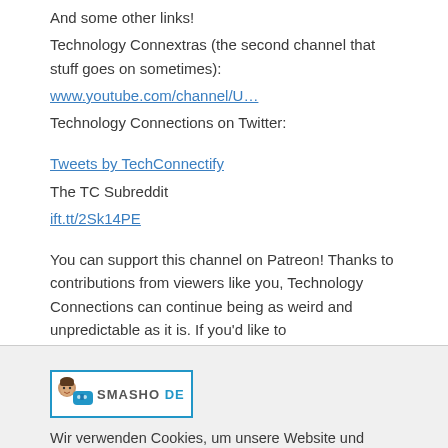And some other links!
Technology Connextras (the second channel that stuff goes on sometimes):
www.youtube.com/channel/U…
Technology Connections on Twitter:
Tweets by TechConnectify
The TC Subreddit
ift.tt/2Sk14PE
You can support this channel on Patreon! Thanks to contributions from viewers like you, Technology Connections can continue being as weird and unpredictable as it is. If you'd like to
[Figure (logo): Smashde logo with cartoon character and game controller icon, text SMASHO DE in a blue bordered box]
Wir verwenden Cookies, um unsere Website und unseren Service zu optimieren.